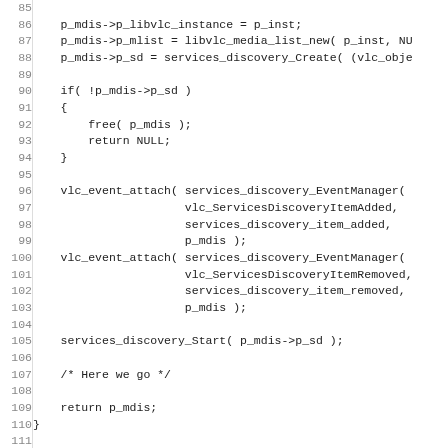[Figure (screenshot): Source code listing in monospace font showing lines 85–116+ of C code for libvlc media discoverer, including function body with p_mdis assignments, if block, vlc_event_attach calls, services_discovery_Start, return statement, closing brace, and beginning of comment block for release function.]